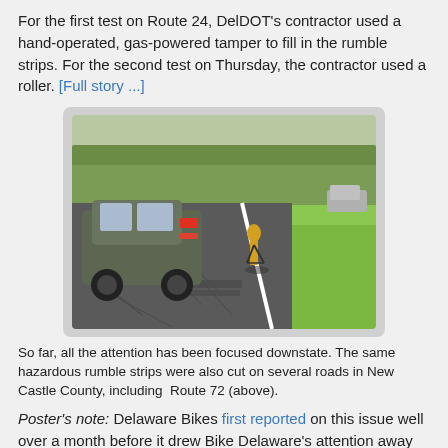For the first test on Route 24, DelDOT's contractor used a hand-operated, gas-powered tamper to fill in the rumble strips. For the second test on Thursday, the contractor used a roller. [Full story ...]
[Figure (photo): A car and a cyclist on a road with rumble strips cut into the pavement near a white shoulder line, with grass on the right side. Route 72, New Castle County, Delaware.]
So far, all the attention has been focused downstate. The same hazardous rumble strips were also cut on several roads in New Castle County, including Route 72 (above).
Poster's note: Delaware Bikes first reported on this issue well over a month before it drew Bike Delaware's attention away from Trails and Pathways. We are encouraged to see